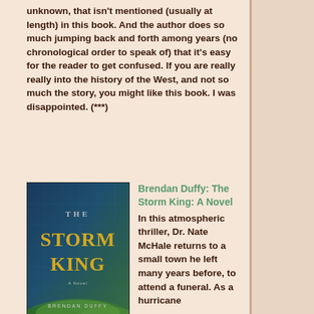unknown, that isn't mentioned (usually at length) in this book. And the author does so much jumping back and forth among years (no chronological order to speak of) that it's easy for the reader to get confused. If you are really really into the history of the West, and not so much the story, you might like this book. I was disappointed. (***)
[Figure (photo): Book cover for 'The Storm King' by Brendan Duffy — dark blue-green atmospheric cover with forest imagery and golden title text]
Brendan Duffy: The Storm King: A Novel In this atmospheric thriller, Dr. Nate McHale returns to a small town he left many years before, to attend a funeral. As a hurricane lashes Greystone Lake, Nate's past mistakes catch up with him, and he finds that history is repeating itself in the worst way possible. Alternating between the present and the last few years of Nate's